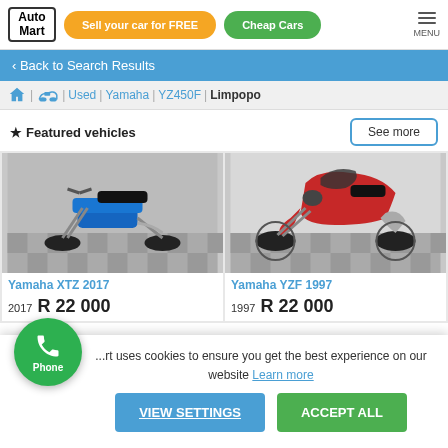AutoMart | Sell your car for FREE | Cheap Cars | MENU
< Back to Search Results
Home > Motorcycles > Used > Yamaha > YZ450F > Limpopo
★ Featured vehicles
[Figure (photo): Blue Yamaha XTZ 2017 dirt bike on checkered floor]
Yamaha XTZ 2017
2017  R 22 000
[Figure (photo): Red Yamaha YZF 1997 sport bike on checkered floor]
Yamaha YZF 1997
1997  R 22 000
...rt uses cookies to ensure you get the best experience on our website Learn more
VIEW SETTINGS
ACCEPT ALL
Phone